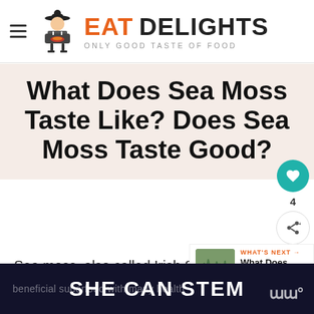EAT DELIGHTS — ONLY GOOD TASTE OF FOOD
What Does Sea Moss Taste Like? Does Sea Moss Taste Good?
Sea moss, also called Irish Sea Mo…
[Figure (other): What's Next thumbnail — nori/seaweed image with label: WHAT'S NEXT → What Does Nori Taste…]
beneficial superfood with many health
[Figure (other): SHE CAN STEM advertisement banner on dark background]